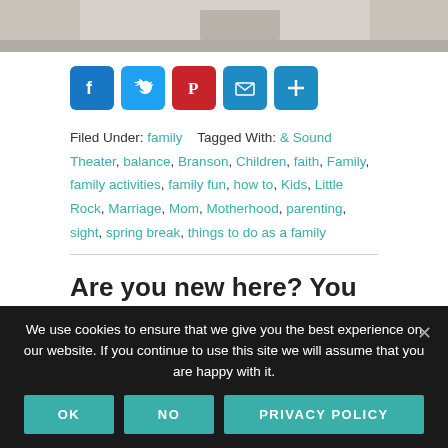[Figure (photo): Partial photo strip at top of page showing outdoor scene]
[Figure (infographic): Social sharing icons: Facebook (blue), Twitter (light blue), Pinterest (red), Email (blue), Share/Add (blue)]
Filed Under: family   Tagged With: & Sound Theater, balance, Branson, Children, faith, Family, family activities, family fun, how to, Kids, Little Rock, Marriage, Mom, Motherhood, parenting, sight, spring break, things to do as a family
Are you new here? You might want to subscribe to my newsletter, check out
We use cookies to ensure that we give you the best experience on our website. If you continue to use this site we will assume that you are happy with it.